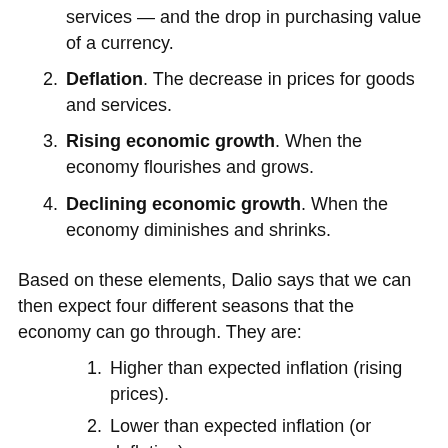services — and the drop in purchasing value of a currency.
Deflation. The decrease in prices for goods and services.
Rising economic growth. When the economy flourishes and grows.
Declining economic growth. When the economy diminishes and shrinks.
Based on these elements, Dalio says that we can then expect four different seasons that the economy can go through. They are:
Higher than expected inflation (rising prices).
Lower than expected inflation (or deflation).
Higher than expected economic growth.
Lower than expected economic growth.